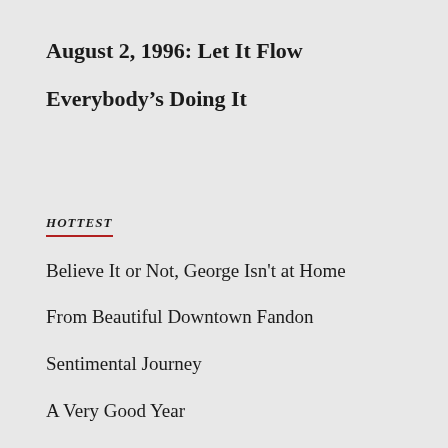August 2, 1996: Let It Flow
Everybody's Doing It
HOTTEST
Believe It or Not, George Isn't at Home
From Beautiful Downtown Fandon
Sentimental Journey
A Very Good Year